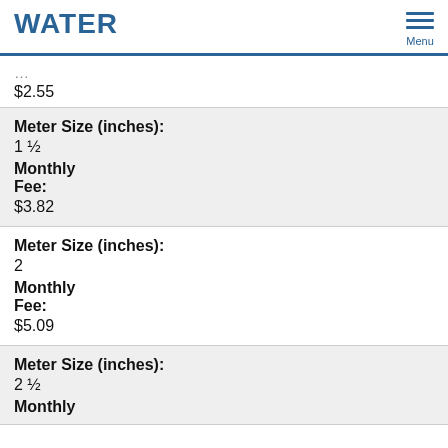WATER
$2.55
| Meter Size (inches): | Monthly Fee: |
| --- | --- |
| 1 ½ | $3.82 |
| Meter Size (inches): | Monthly Fee: |
| --- | --- |
| 2 | $5.09 |
| Meter Size (inches): | Monthly Fee: |
| --- | --- |
| 2 ½ |  |